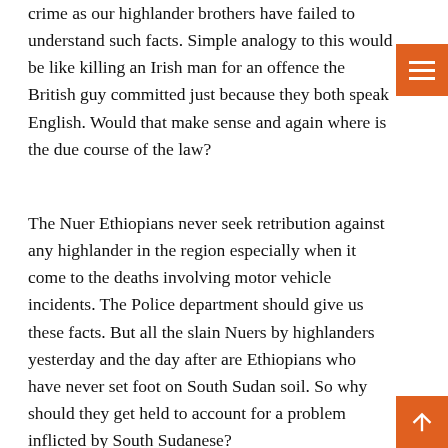crime as our highlander brothers have failed to understand such facts. Simple analogy to this would be like killing an Irish man for an offence the British guy committed just because they both speak English. Would that make sense and again where is the due course of the law?
The Nuer Ethiopians never seek retribution against any highlander in the region especially when it come to the deaths involving motor vehicle incidents. The Police department should give us these facts. But all the slain Nuers by highlanders yesterday and the day after are Ethiopians who have never set foot on South Sudan soil. So why should they get held to account for a problem inflicted by South Sudanese?